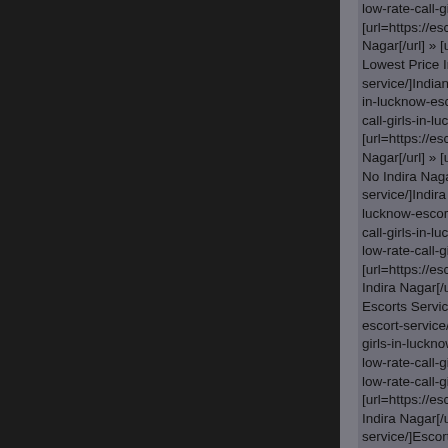low-rate-call-girls-in-lucknow- [url=https://escortncr.com/bes Nagar[/url] » [url=https://esco Lowest Price Indira Nagar[/ur service/]Indian Escort Service in-lucknow-escort-service/]Ca call-girls-in-lucknow-escort-se [url=https://escortncr.com/bes Nagar[/url] » [url=https://esco No Indira Nagar[/url] » [url=ht service/]Indira Nagar Call Girl lucknow-escort-service/]Sasti call-girls-in-lucknow-escort-se low-rate-call-girls-in-lucknow- [url=https://escortncr.com/bes Indira Nagar[/url] » [url=https: Escorts Service Indira Nagar[ escort-service/]Call Girl Numb girls-in-lucknow-escort-servic low-rate-call-girls-in-lucknow- low-rate-call-girls-in-lucknow- [url=https://escortncr.com/bes Indira Nagar[/url] » [url=https: service/]Escort Services Indira lucknow-escort-service/]Call G rate-call-girls-in-lucknow-esco [url=https://escortncr.com/bes » [url=https://escortncr.com/b Number in Indira Nagar[/url] » service/]Call Girl Profile Indira